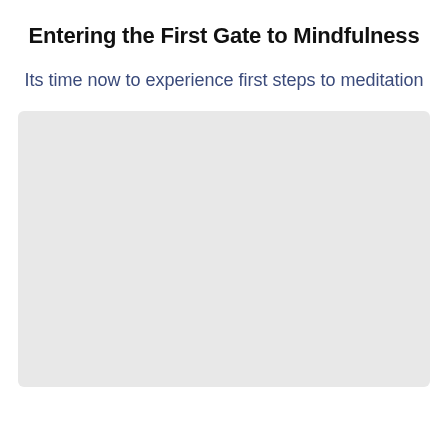Entering the First Gate to Mindfulness
Its time now to experience first steps to meditation
[Figure (other): A large light gray rectangular placeholder image area]